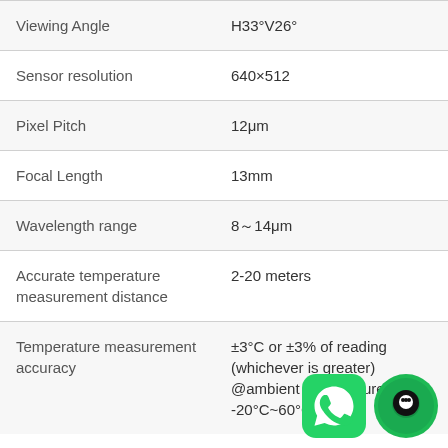| Parameter | Value |
| --- | --- |
| Viewing Angle | H33°V26° |
| Sensor resolution | 640×512 |
| Pixel Pitch | 12μm |
| Focal Length | 13mm |
| Wavelength range | 8～14μm |
| Accurate temperature measurement distance | 2-20 meters |
| Temperature measurement accuracy | ±3°C or ±3% of reading (whichever is greater) @ambient temperature -20°C~60°C |